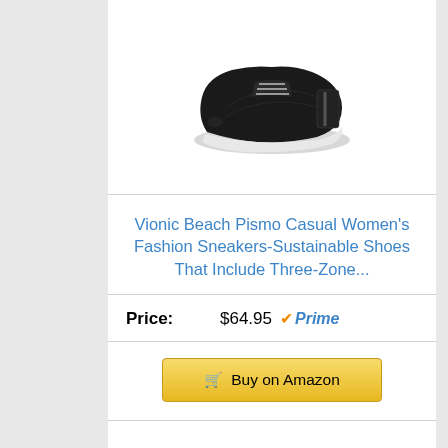[Figure (photo): Black athletic/casual sneaker shoe shown from a rear-angled view with white sole, against white background]
Vionic Beach Pismo Casual Women’s Fashion Sneakers-Sustainable Shoes That Include Three-Zone...
Price: $64.95 Prime
Buy on Amazon
Bestseller No. 6